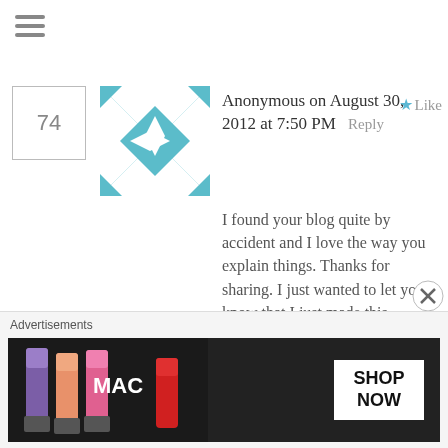[Figure (screenshot): Hamburger menu icon (three horizontal lines)]
74
[Figure (illustration): Geometric teal and white quilt pattern avatar for Anonymous commenter]
Anonymous on August 30, 2012 at 7:50 PM  Reply  ★ Like
I found your blog quite by accident and I love the way you explain things. Thanks for sharing. I just wanted to let you know that I just made this following your instructions. Thanks, Madhu from India
75
[Figure (photo): Photo of Sawsan, a woman wearing a white headband and floral scarf]
Sawsan@ Chef in disguise on August 30, 2012 at 10:18 PM  Reply  ★ Like
[Figure (screenshot): MAC cosmetics advertisement showing lipsticks in purple, peach, pink colors with MAC logo and SHOP NOW button]